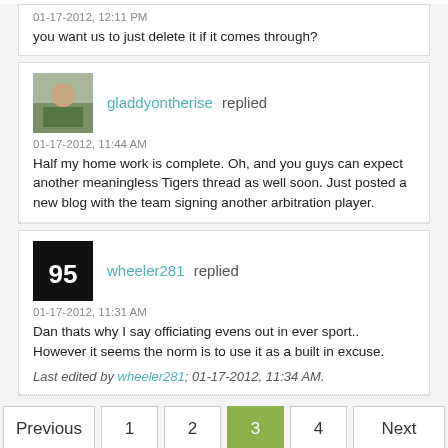01-17-2012, 12:11 PM
you want us to just delete it if it comes through?
gladdyontherise replied
01-17-2012, 11:44 AM
Half my home work is complete. Oh, and you guys can expect another meaningless Tigers thread as well soon. Just posted a new blog with the team signing another arbitration player.
wheeler281 replied
01-17-2012, 11:31 AM
Dan thats why I say officiating evens out in ever sport.. However it seems the norm is to use it as a built in excuse.
Last edited by wheeler281; 01-17-2012, 11:34 AM.
Previous 1 2 3 4 Next